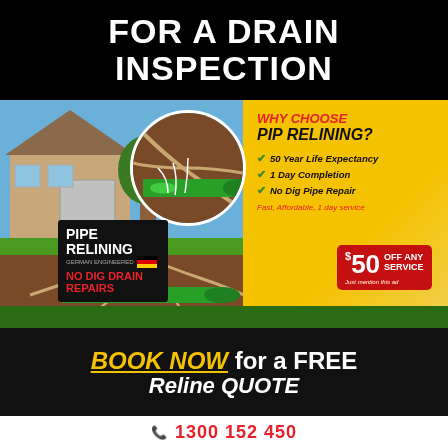FOR A DRAIN INSPECTION
[Figure (illustration): Promotional banner for pipe relining service. Left side shows a house with tree roots damaging underground pipes and a green pipe reline insert. A circular inset shows a close-up of the green pipe relining. Right side is a yellow panel with 'WHY CHOOSE PIP RELINING?' heading with three check marks: 50 Year Life Expectancy, 1 Day Completion, No Dig Pipe Repair, and 'Fast, Affordable, 1 day service'. Bottom of image has a black 'PIPE RELINING GERMAN ENGINEERED NO DIG DRAIN REPAIRS' badge, green grass strip, and a red $50 OFF ANY SERVICE coupon.]
WHY CHOOSE PIP RELINING?
50 Year Life Expectancy
1 Day Completion
No Dig Pipe Repair
Fast, Affordable, 1 day service
BOOK NOW for a FREE Reline QUOTE
1300 152 450